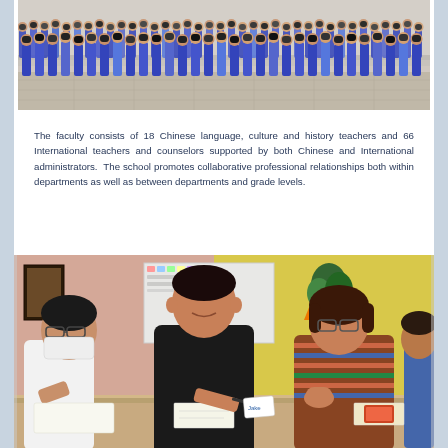[Figure (photo): Group photo of school faculty and staff in blue/purple shirts standing in rows outdoors on a sunny day]
The faculty consists of 18 Chinese language, culture and history teachers and 66 International teachers and counselors supported by both Chinese and International administrators. The school promotes collaborative professional relationships both within departments as well as between departments and grade levels.
[Figure (photo): Classroom scene showing three people (two young men and a woman) sitting around a table engaged in discussion or collaborative work, with classroom materials visible in background]